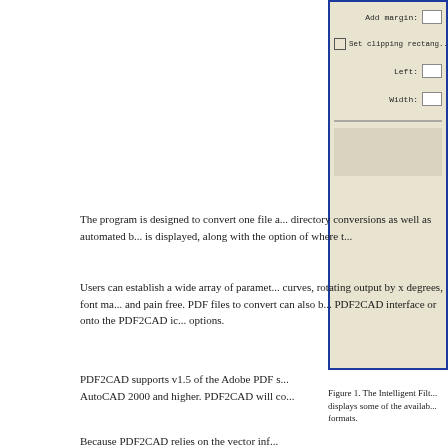[Figure (screenshot): Partial view of a dialog box (Intelligent Filter interface) showing fields: Add margin with input box, Set clipping rectangle checkbox, Left field with input box, Width field with input box. Blue border around the dialog panel with beige/tan background.]
Figure 1. The Intelligent Filt... displays some of the availab... formats.
The program is designed to convert one file a... directory conversions as well as automated b... is displayed, along with the option of where t...
Users can establish a wide array of paramet... curves, rotating output by x degrees, font ma... and pain free. PDF files to convert can also b... PDF2CAD interface or onto the PDF2CAD ic... options.
PDF2CAD supports v1.5 of the Adobe PDF s... AutoCAD 2000 and higher. PDF2CAD will co...
Because PDF2CAD relies on the vector inf...